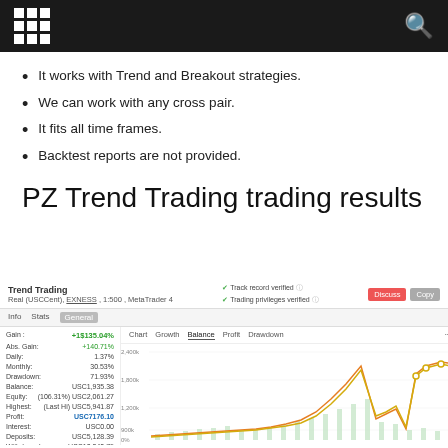It works with Trend and Breakout strategies.
We can work with any cross pair.
It fits all time frames.
Backtest reports are not provided.
PZ Trend Trading trading results
[Figure (screenshot): Myfxbook trading statement for Trend Trading account showing Gain: +$135.04%, Abs. Gain: +140.71%, Daily: 1.37%, Monthly: 30.53%, Drawdown: 71.93%, Balance: USC1,935.38, Equity: (106.31%) USC2,061.27, Highest: (Last Hi) USC5,941.87, Profit: USC7176.10, Interest: USC0.00, Deposits: USC5,128.39, Withdrawals: USC10,040.79, and a line/bar chart showing equity growth and growth from Dec 2020 to Aug 2021]